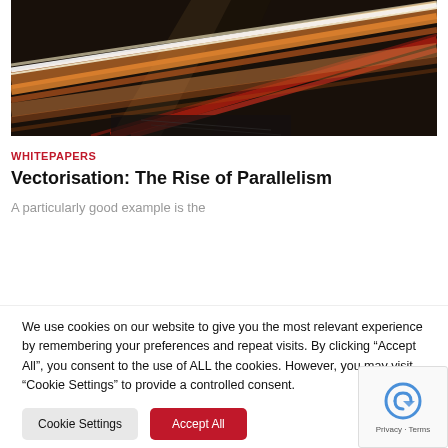[Figure (photo): Long-exposure photo of light streaks from traffic at night, showing diagonal orange, red, and white light trails against a dark background with a road surface visible.]
WHITEPAPERS
Vectorisation: The Rise of Parallelism
A particularly good example is the
We use cookies on our website to give you the most relevant experience by remembering your preferences and repeat visits. By clicking “Accept All”, you consent to the use of ALL the cookies. However, you may visit “Cookie Settings” to provide a controlled consent.